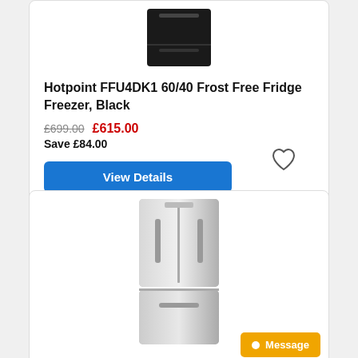[Figure (photo): Black Hotpoint fridge freezer product image, top portion visible]
Hotpoint FFU4DK1 60/40 Frost Free Fridge Freezer, Black
£699.00 £615.00
Save £84.00
View Details
[Figure (photo): Silver/stainless steel French door fridge freezer product image]